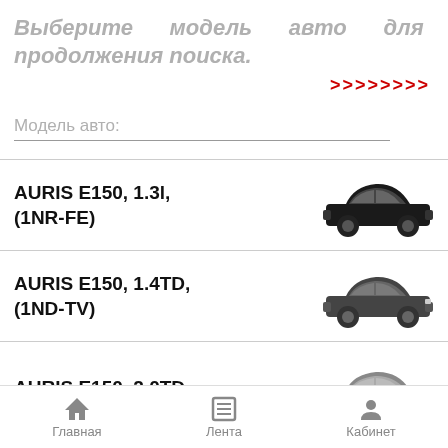Выберите модель авто для продолжения поиска.
>>>>>>>>
Модель авто:
AURIS E150, 1.3l, (1NR-FE)
AURIS E150, 1.4TD, (1ND-TV)
AURIS E150, 2.0TD,
Главная   Лента   Кабинет